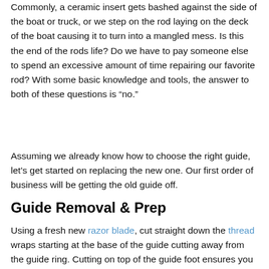Commonly, a ceramic insert gets bashed against the side of the boat or truck, or we step on the rod laying on the deck of the boat causing it to turn into a mangled mess. Is this the end of the rods life? Do we have to pay someone else to spend an excessive amount of time repairing our favorite rod? With some basic knowledge and tools, the answer to both of these questions is “no.”
Assuming we already know how to choose the right guide, let’s get started on replacing the new one. Our first order of business will be getting the old guide off.
Guide Removal & Prep
Using a fresh new razor blade, cut straight down the thread wraps starting at the base of the guide cutting away from the guide ring. Cutting on top of the guide foot ensures you do not cut into the rod blank. Once the guide feet are nearly free, you